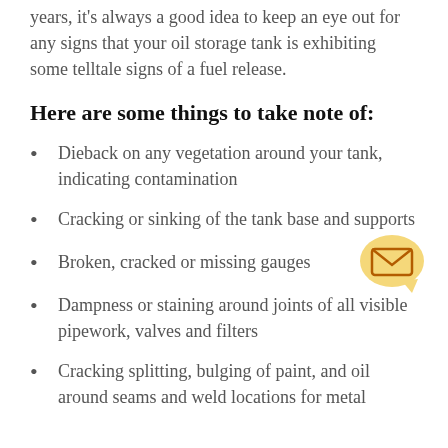years, it's always a good idea to keep an eye out for any signs that your oil storage tank is exhibiting some telltale signs of a fuel release.
Here are some things to take note of:
Dieback on any vegetation around your tank, indicating contamination
Cracking or sinking of the tank base and supports
Broken, cracked or missing gauges
Dampness or staining around joints of all visible pipework, valves and filters
Cracking splitting, bulging of paint, and oil around seams and weld locations for metal